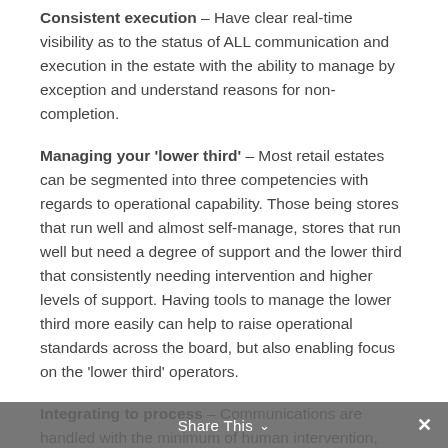Consistent execution – Have clear real-time visibility as to the status of ALL communication and execution in the estate with the ability to manage by exception and understand reasons for non-completion.
Managing your 'lower third' – Most retail estates can be segmented into three competencies with regards to operational capability. Those being stores that run well and almost self-manage, stores that run well but need a degree of support and the lower third that consistently needing intervention and higher levels of support. Having tools to manage the lower third more easily can help to raise operational standards across the board, but also enabling focus on the 'lower third' operators.
Integrating to process – Communications are handled with the minimum of human intervention, control of volume is managed through workflow, processes are supported from initial creation through
Share This ∨  ✕